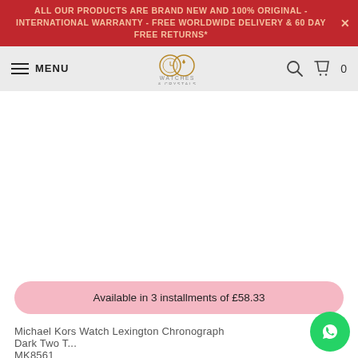ALL OUR PRODUCTS ARE BRAND NEW AND 100% ORIGINAL - INTERNATIONAL WARRANTY - FREE WORLDWIDE DELIVERY & 60 DAY FREE RETURNS*
[Figure (logo): Watches & Crystals logo with two interlocking rings, one with a watch face and one with a gem]
Available in 3 installments of £58.33
Michael Kors Watch Lexington Chronograph Dark Two T... MK8561
$203.97 USD $325.19 USD